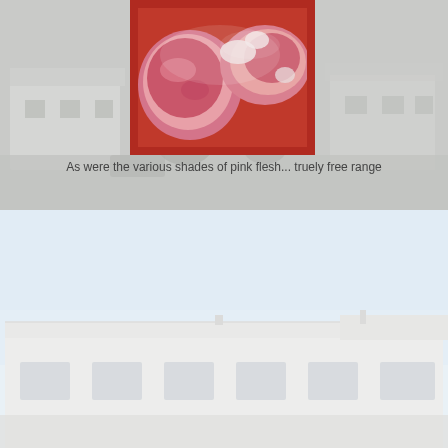[Figure (photo): Background photo of a building/farm structure (faded/washed out), with a foreground close-up photo of pink raw meat pieces in a red bowl or container.]
As were the various shades of pink flesh... truely free range
[Figure (photo): A faded/washed-out photo of a large white farm building or poultry shed with a pale blue sky background.]